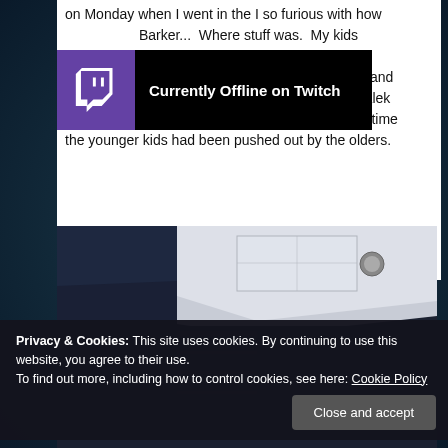on Monday when I went in the I so furious with how ...ived the low... Barker... Where stuff was.  My kids ...event and it quickly turned into a mess.  It just was ever lead, and the kids took over.  My boys managed to get a Dalek built but couldn't build a TARDIS because by that time the younger kids had been pushed out by the olders.
[Figure (screenshot): Twitch 'Currently Offline on Twitch' overlay banner with purple Twitch logo icon on black background]
[Figure (photo): Interior room photo showing ceiling with white ceiling tiles, fluorescent light fixture, dark walls and what appears to be dark shelving or furniture below]
Privacy & Cookies: This site uses cookies. By continuing to use this website, you agree to their use.
To find out more, including how to control cookies, see here: Cookie Policy
Close and accept